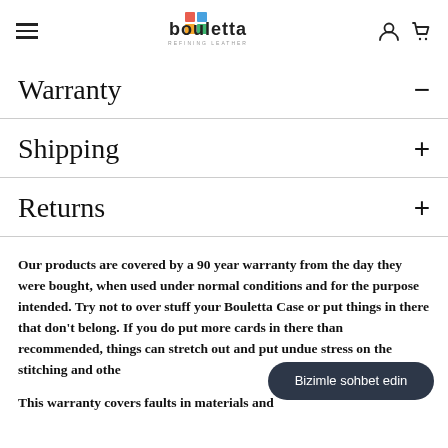Bouletta Refining Leather — navigation header with hamburger menu, logo, account and cart icons
Warranty
Shipping
Returns
Our products are covered by a 90 year warranty from the day they were bought, when used under normal conditions and for the purpose intended. Try not to over stuff your Bouletta Case or put things in there that don't belong. If you do put more cards in there than recommended, things can stretch out and put undue stress on the stitching and othe
This warranty covers faults in materials and